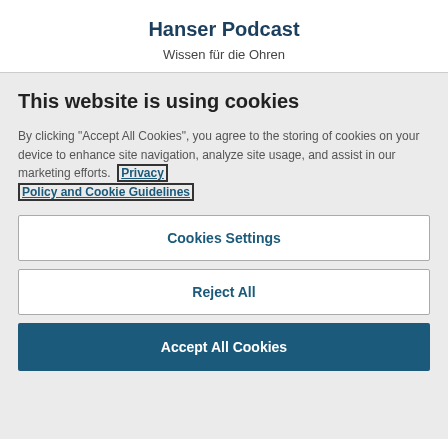Hanser Podcast
Wissen für die Ohren
This website is using cookies
By clicking "Accept All Cookies", you agree to the storing of cookies on your device to enhance site navigation, analyze site usage, and assist in our marketing efforts. Privacy Policy and Cookie Guidelines
Cookies Settings
Reject All
Accept All Cookies